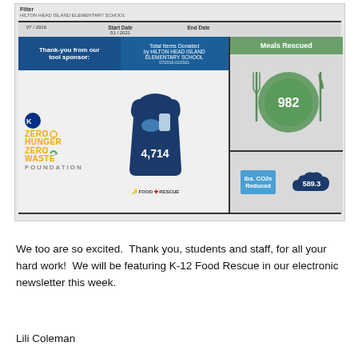[Figure (infographic): Food Rescue infographic for Hilton Head Island Elementary School showing Total Items Donated: 4,714; Meals Rescued: 982; lbs. CO2e Reduced: 589.3. Includes Kroger Zero Hunger Zero Waste Foundation sponsor logo. Date range 07/2016 to 01/2021.]
We too are so excited.  Thank you, students and staff, for all your hard work!  We will be featuring K-12 Food Rescue in our electronic newsletter this week.
Lili Coleman